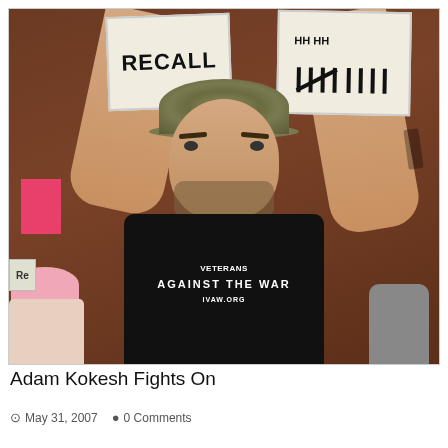[Figure (photo): A man wearing a camo bucket hat and black t-shirt reading 'AGAINST THE WAR' holds up protest signs including one reading 'RECALL' at what appears to be a protest event. Other protesters with pink signs and hats are visible in the background.]
Adam Kokesh Fights On
May 31, 2007   0 Comments